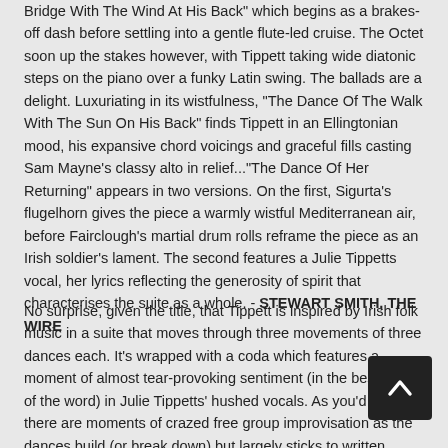Bridge With The Wind At His Back" which begins as a brakes-off dash before settling into a gentle flute-led cruise.  The Octet soon up the stakes however, with Tippett taking wide diatonic steps on the piano over a funky Latin swing.  The ballads are a delight.  Luxuriating in its wistfulness, "The Dance Of The Walk With The Sun On His Back" finds Tippett in an Ellingtonian mood, his expansive chord voicings and graceful fills casting Sam Mayne's classy alto in relief..."The Dance Of Her Returning" appears in two versions.  On the first, Sigurta's flugelhorn gives the piece a warmly wistful Mediterranean air, before Fairclough's martial drum rolls reframe the piece as an Irish soldier's lament.  The second features a Julie Tippetts vocal, her lyrics reflecting the generosity of spirit that characterises the suite as a whole. - STEWART SMITH, THE WIRE
No surprise, given the title, that Tippett is inspired by Irish folk music in a suite that moves through three movements of three dances each.  It's wrapped with a coda which features a moment of almost tear-provoking sentiment (in the best sense of the word) in Julie Tippetts' hushed vocals.  As you'd expect, there are moments of crazed free group improvisation as the dances build (or break down) but largely sticks to written through passages spiked with instrumental breaks and his ever vigourous keys.  There's an almost Mingus-like feel to much of the writing / arranging, as the band are given a frame